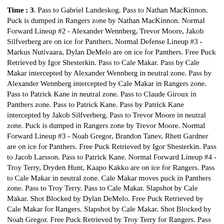Time : 3. Pass to Gabriel Landeskog. Pass to Nathan MacKinnon. Puck is dumped in Rangers zone by Nathan MacKinnon. Normal Forward Lineup #2 - Alexander Wennberg, Trevor Moore, Jakob Silfverberg are on ice for Panthers. Normal Defense Lineup #3 - Markus Nutivaara, Dylan DeMelo are on ice for Panthers. Free Puck Retrieved by Igor Shesterkin. Pass to Cale Makar. Pass by Cale Makar intercepted by Alexander Wennberg in neutral zone. Pass by Alexander Wennberg intercepted by Cale Makar in Rangers zone. Pass to Patrick Kane in neutral zone. Pass to Claude Giroux in Panthers zone. Pass to Patrick Kane. Pass by Patrick Kane intercepted by Jakob Silfverberg. Pass to Trevor Moore in neutral zone. Puck is dumped in Rangers zone by Trevor Moore. Normal Forward Lineup #3 - Noah Gregor, Brandon Tanev, Rhett Gardner are on ice for Panthers. Free Puck Retrieved by Igor Shesterkin. Pass to Jacob Larsson. Pass to Patrick Kane. Normal Forward Lineup #4 - Troy Terry, Dryden Hunt, Kaapo Kakko are on ice for Rangers. Pass to Cale Makar in neutral zone. Cale Makar moves puck in Panthers zone. Pass to Troy Terry. Pass to Cale Makar. Slapshot by Cale Makar. Shot Blocked by Dylan DeMelo. Free Puck Retrieved by Cale Makar for Rangers. Slapshot by Cale Makar. Shot Blocked by Noah Gregor. Free Puck Retrieved by Troy Terry for Rangers. Pass to Cale Makar. Pass to Dryden Hunt. Puck is dumped in Panthers zone by Dryden Hunt. Normal Forward Lineup #2 - Michael McLeod, Tim Stutzle, Garnet Hathaway are on ice for Rangers. Normal Defense Lineup #3